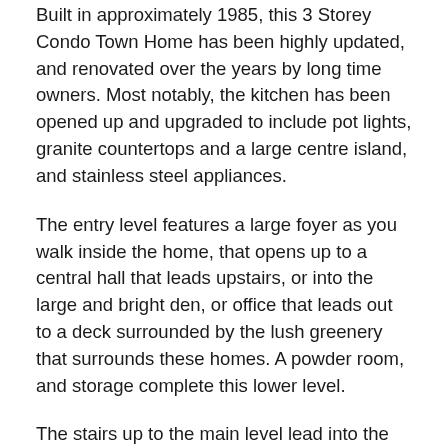Built in approximately 1985, this 3 Storey Condo Town Home has been highly updated, and renovated over the years by long time owners. Most notably, the kitchen has been opened up and upgraded to include pot lights, granite countertops and a large centre island, and stainless steel appliances.
The entry level features a large foyer as you walk inside the home, that opens up to a central hall that leads upstairs, or into the large and bright den, or office that leads out to a deck surrounded by the lush greenery that surrounds these homes. A powder room, and storage complete this lower level.
The stairs up to the main level lead into the large open concept living and dining room that are accented by patio doors leading out onto a private balcony. With dark hardwood floors, and a gas fireplace surrounded by a...